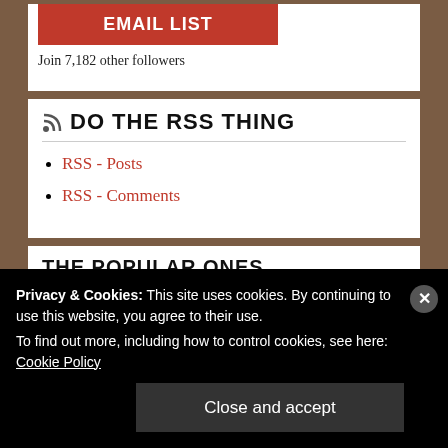EMAIL LIST
Join 7,182 other followers
DO THE RSS THING
RSS - Posts
RSS - Comments
THE POPULAR ONES
[Figure (screenshot): FOR SALE image thumbnail in pink/blue gradient]
[Figure (screenshot): A BEWILDERED RESPONSE FROM PEOPLE IN POSITIONS text thumbnail]
Privacy & Cookies: This site uses cookies. By continuing to use this website, you agree to their use.
To find out more, including how to control cookies, see here: Cookie Policy
Close and accept